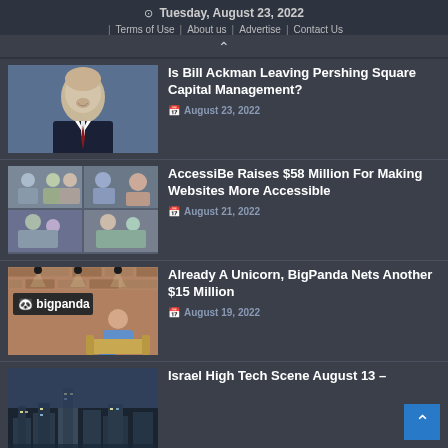Tuesday, August 23, 2022 | Terms of Use | About us | Advertise | Contact Us
Is Bill Ackman Leaving Pershing Square Capital Management? — August 23, 2022
AccessiBe Raises $58 Million For Making Websites More Accessible — August 21, 2022
Already A Unicorn, BigPanda Nets Another $15 Million — August 19, 2022
Israel High Tech Scene August 13 –